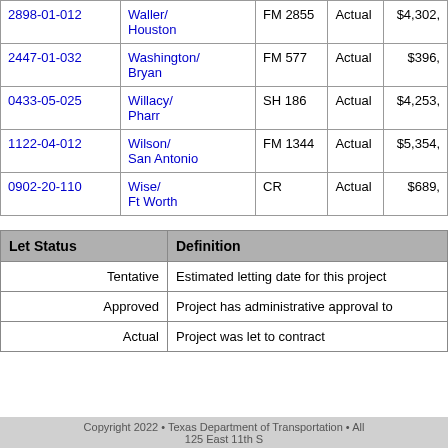| CSJ | County/District | Highway | Let Status | Amount |
| --- | --- | --- | --- | --- |
| 2898-01-012 | Waller/
Houston | FM 2855 | Actual | $4,302, |
| 2447-01-032 | Washington/
Bryan | FM 577 | Actual | $396, |
| 0433-05-025 | Willacy/
Pharr | SH 186 | Actual | $4,253, |
| 1122-04-012 | Wilson/
San Antonio | FM 1344 | Actual | $5,354, |
| 0902-20-110 | Wise/
Ft Worth | CR | Actual | $689, |
| Let Status | Definition |
| --- | --- |
| Tentative | Estimated letting date for this project |
| Approved | Project has administrative approval to |
| Actual | Project was let to contract |
Copyright 2022 • Texas Department of Transportation • All
125 East 11th S